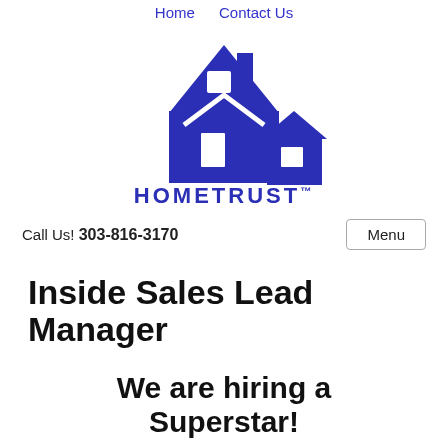Home   Contact Us
[Figure (logo): HomeTrust logo: dark blue house icon with the word HOMETRUST in dark blue capital letters below]
Call Us! 303-816-3170
Inside Sales Lead Manager
We are hiring a Superstar!